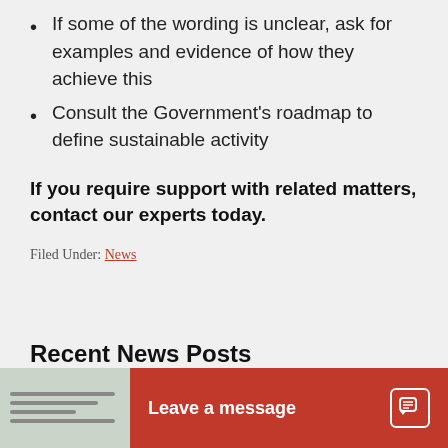If some of the wording is unclear, ask for examples and evidence of how they achieve this
Consult the Government's roadmap to define sustainable activity
If you require support with related matters, contact our experts today.
Filed Under: News
Recent News Posts
[Figure (screenshot): Thumbnail image of a device screen with horizontal lines]
Leave a message